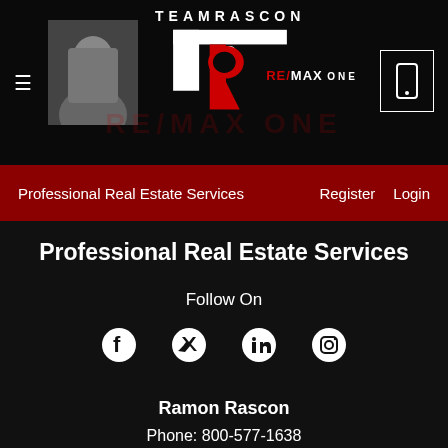[Figure (logo): Team Rascon RE/MAX One real estate agency header with logo, agent photo, and navigation bar]
Professional Real Estate Services    Register    Login
Professional Real Estate Services
Follow On
[Figure (infographic): Social media icons: Facebook, Twitter, LinkedIn, Instagram]
Ramon Rascon
Phone: 800-577-1638
Ramon@Teamrascon.Com